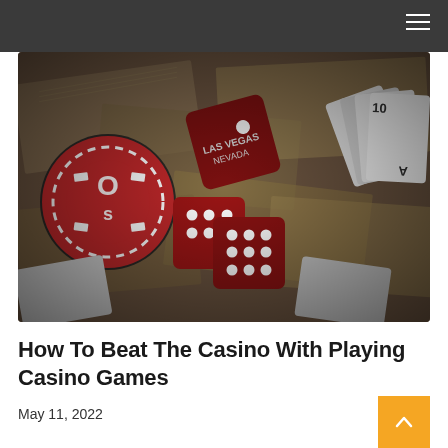[Figure (photo): Close-up photo of casino items: red casino chip with 'Os' text, red Las Vegas Nevada dice with white dots, playing cards, and worn dollar bills scattered on a surface.]
How To Beat The Casino With Playing Casino Games
May 11, 2022
[Figure (photo): Partial photo of a baseball player on a green field.]